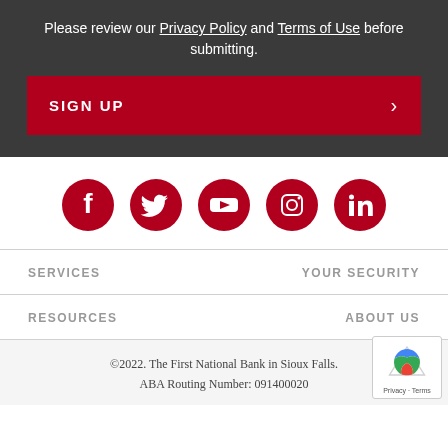Please review our Privacy Policy and Terms of Use before submitting.
SIGN UP
[Figure (illustration): Row of 5 red circular social media icons: Facebook, Twitter, YouTube, Instagram, LinkedIn]
SERVICES
YOUR SECURITY
RESOURCES
ABOUT US
©2022. The First National Bank in Sioux Falls. ABA Routing Number: 091400020
[Figure (logo): reCAPTCHA badge with Privacy - Terms text]